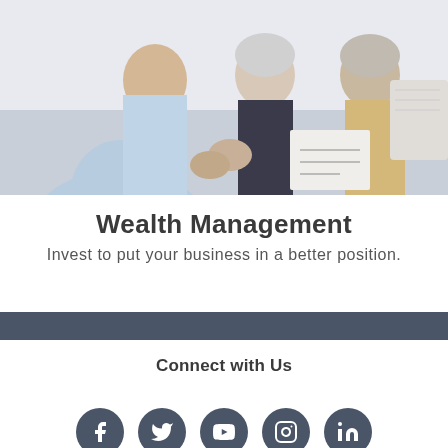[Figure (photo): A financial advisor meeting with an elderly couple, reviewing documents together on a couch.]
Wealth Management
Invest to put your business in a better position.
Connect with Us
[Figure (illustration): Five social media icons (Facebook, Twitter, YouTube, Instagram, LinkedIn) displayed as dark circular buttons.]